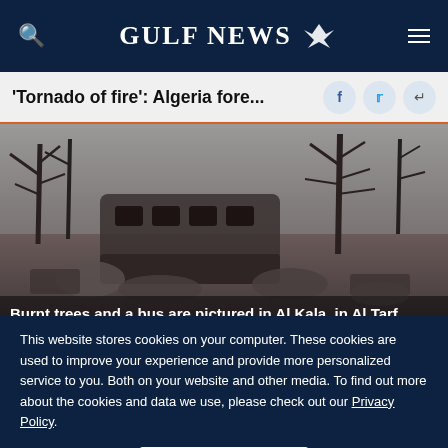GULF NEWS
'Tornado of fire': Algeria fore...
[Figure (photo): Burnt trees and a destroyed/charred bus amid scorched wreckage in Al Kala, Al Tarf, Algeria, following forest fires.]
Burnt trees and a bus are pictured in Al Kala, in Al Tarf
This website stores cookies on your computer. These cookies are used to improve your experience and provide more personalized service to you. Both on your website and other media. To find out more about the cookies and data we use, please check out our Privacy Policy.
OK